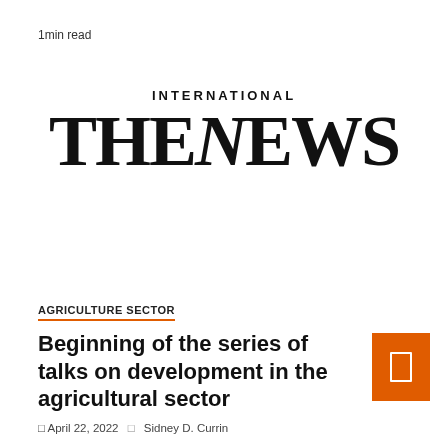1min read
[Figure (logo): The News International logo — 'INTERNATIONAL' in small caps above large serif 'THE NEWS' masthead text]
AGRICULTURE SECTOR
Beginning of the series of talks on development in the agricultural sector
April 22, 2022   Sidney D. Currin